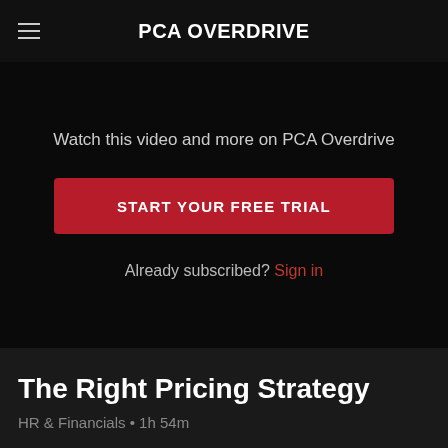PCA OVERDRIVE
Watch this video and more on PCA Overdrive
START YOUR FREE TRIAL
Already subscribed? Sign in
The Right Pricing Strategy
HR & Financials • 1h 54m
Defining the right price for your service is always a challenge